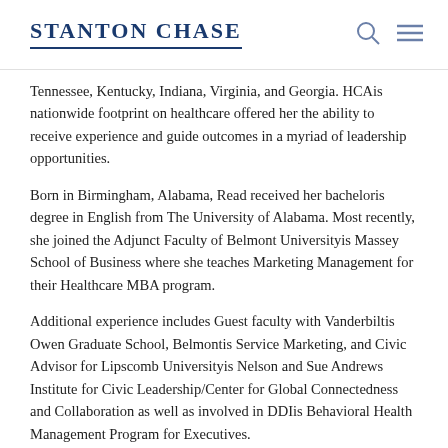STANTON CHASE
Tennessee, Kentucky, Indiana, Virginia, and Georgia. HCAis nationwide footprint on healthcare offered her the ability to receive experience and guide outcomes in a myriad of leadership opportunities.
Born in Birmingham, Alabama, Read received her bacheloris degree in English from The University of Alabama. Most recently, she joined the Adjunct Faculty of Belmont Universityis Massey School of Business where she teaches Marketing Management for their Healthcare MBA program.
Additional experience includes Guest faculty with Vanderbiltis Owen Graduate School, Belmontis Service Marketing, and Civic Advisor for Lipscomb Universityis Nelson and Sue Andrews Institute for Civic Leadership/Center for Global Connectedness and Collaboration as well as involved in DDIis Behavioral Health Management Program for Executives.
Named by the Nashville Business Journal in 2009 as one of 30